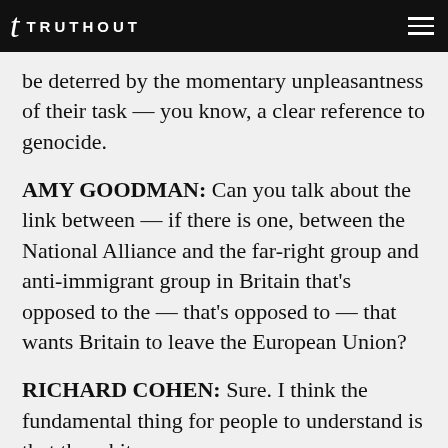TRUTHOUT
be deterred by the momentary unpleasantness of their task — you know, a clear reference to genocide.
AMY GOODMAN: Can you talk about the link between — if there is one, between the National Alliance and the far-right group and anti-immigrant group in Britain that's opposed to the — that's opposed to — that wants Britain to leave the European Union?
RICHARD COHEN: Sure. I think the fundamental thing for people to understand is that the white